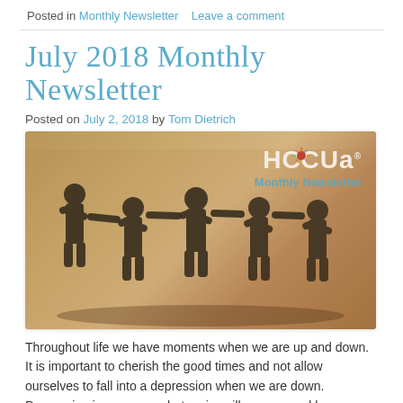Posted in Monthly Newsletter   Leave a comment
July 2018 Monthly Newsletter
Posted on July 2, 2018 by Tom Dietrich
[Figure (photo): HCCUA Monthly Newsletter banner image showing paper cutout figures of people holding hands against a warm brown background. The HCCUA logo and 'Monthly Newsletter' text appear in the upper right corner.]
Throughout life we have moments when we are up and down. It is important to cherish the good times and not allow ourselves to fall into a depression when we are down. Depression is a common but serious illness caused by a combination of genetic, biological